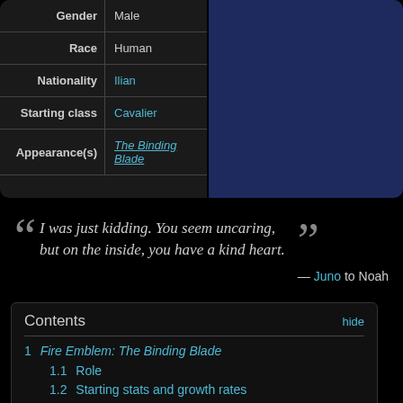| Property | Value |
| --- | --- |
| Gender | Male |
| Race | Human |
| Nationality | Ilian |
| Starting class | Cavalier |
| Appearance(s) | The Binding Blade |
I was just kidding. You seem uncaring, but on the inside, you have a kind heart. — Juno to Noah
Contents
1 Fire Emblem: The Binding Blade
1.1 Role
1.2 Starting stats and growth rates
1.3 Promotion stat gains